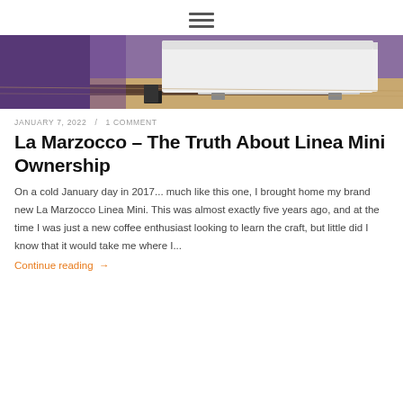[Figure (other): Hamburger menu icon (three horizontal lines)]
[Figure (photo): Close-up photo of a La Marzocco Linea Mini espresso machine on a wooden surface with purple ambient light in the background]
JANUARY 7, 2022 / 1 COMMENT
La Marzocco – The Truth About Linea Mini Ownership
On a cold January day in 2017... much like this one, I brought home my brand new La Marzocco Linea Mini. This was almost exactly five years ago, and at the time I was just a new coffee enthusiast looking to learn the craft, but little did I know that it would take me where I...
Continue reading →